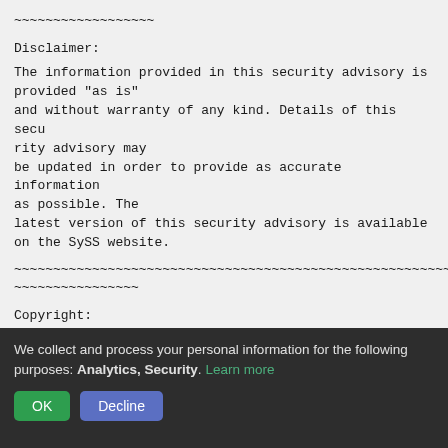~~~~~~~~~~~~~~~~~~
Disclaimer:
The information provided in this security advisory is provided "as is"
and without warranty of any kind. Details of this security advisory may
be updated in order to provide as accurate information as possible. The
latest version of this security advisory is available on the SySS website.
~~~~~~~~~~~~~~~~~~~~~~~~~~~~~~~~~~~~~~~~~~~~~~~~~~~~~~~~~~~~~~~~~~~~~~~~~~~~~~~~~~~~~~~~~~~~~~~~~~~~~~~~~~~~~~~~~~~~~~~~~~~~~~~~
Copyright:
Creative Commons - Attribution (by) - Version 3.0
We collect and process your personal information for the following purposes: Analytics, Security. Learn more